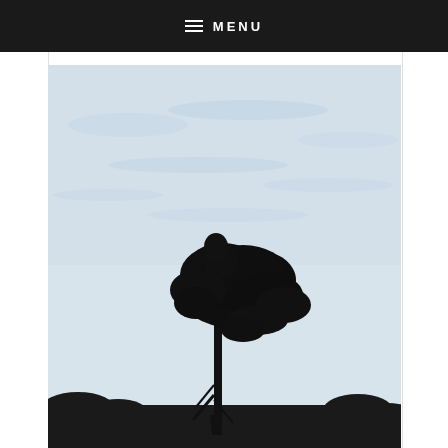≡ MENU
[Figure (photo): A tall lone pine tree silhouetted against a pale overcast sky, with smaller trees visible along the bottom edge. The tree has a slender trunk with sparse branches at the top spreading asymmetrically to the right.]